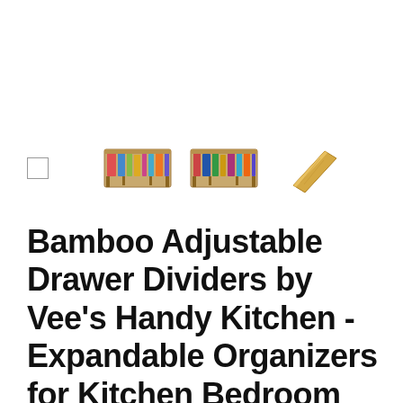[Figure (photo): Row of product thumbnail images: a small empty checkbox/square, then three product photos showing bamboo drawer dividers (two showing dividers organizing items in a drawer, one showing a single bamboo divider piece)]
Bamboo Adjustable Drawer Dividers by Vee's Handy Kitchen - Expandable Organizers for Kitchen Bedroom Bathroom Closets Dressers Baby Kids